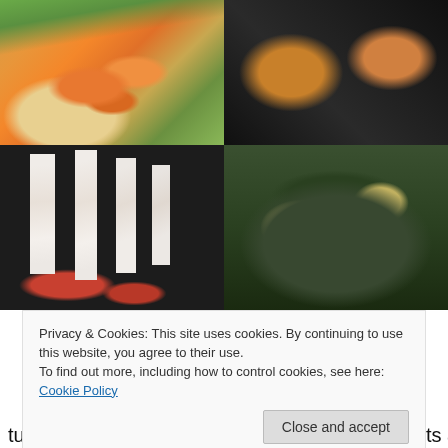[Figure (photo): Four food photos in a 2x2 grid: top-left shows carrots and green vegetables on a plate, top-right shows sushi or dark food pieces on a dark surface, bottom-left shows raw bones/meat on a dark tray, bottom-right shows a pot with salad greens mushrooms and vegetables]
Privacy & Cookies: This site uses cookies. By continuing to use this website, you agree to their use.
To find out more, including how to control cookies, see here: Cookie Policy
Close and accept
turkey or fish. After seeing many Instagram posts about it |